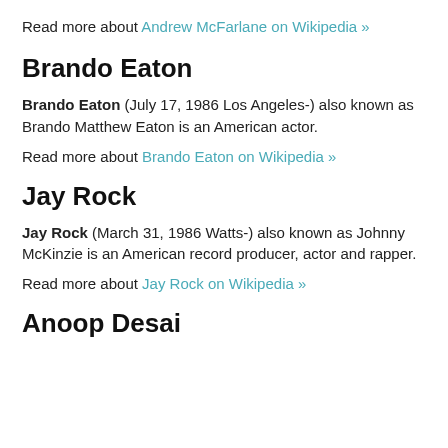Read more about Andrew McFarlane on Wikipedia »
Brando Eaton
Brando Eaton (July 17, 1986 Los Angeles-) also known as Brando Matthew Eaton is an American actor.
Read more about Brando Eaton on Wikipedia »
Jay Rock
Jay Rock (March 31, 1986 Watts-) also known as Johnny McKinzie is an American record producer, actor and rapper.
Read more about Jay Rock on Wikipedia »
Anoop Desai